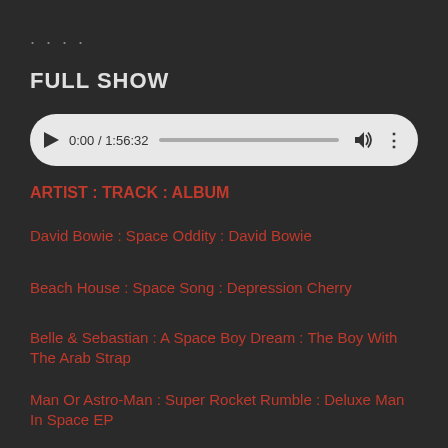....
FULL SHOW
[Figure (other): Audio player widget showing 0:00 / 1:56:32 with play button, progress bar, volume icon, and more options icon]
ARTIST : TRACK : ALBUM
David Bowie : Space Oddity : David Bowie
Beach House : Space Song : Depression Cherry
Belle & Sebastian : A Space Boy Dream : The Boy With The Arab Strap
Man Or Astro-Man : Super Rocket Rumble : Deluxe Man In Space EP